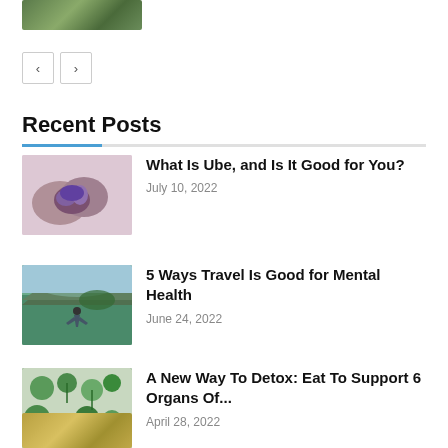[Figure (photo): Partial food/greens photo at top left corner]
[Figure (other): Pagination navigation buttons with left and right arrows]
Recent Posts
[Figure (photo): Purple ube/yam cut open showing purple interior on pink background]
What Is Ube, and Is It Good for You?
July 10, 2022
[Figure (photo): Woman standing in scenic mountain landscape with lake]
5 Ways Travel Is Good for Mental Health
June 24, 2022
[Figure (photo): Green vegetables and herbs arranged on surface for detox article]
A New Way To Detox: Eat To Support 6 Organs Of...
April 28, 2022
[Figure (photo): Partial golden/yellow food photo at bottom left, cut off]